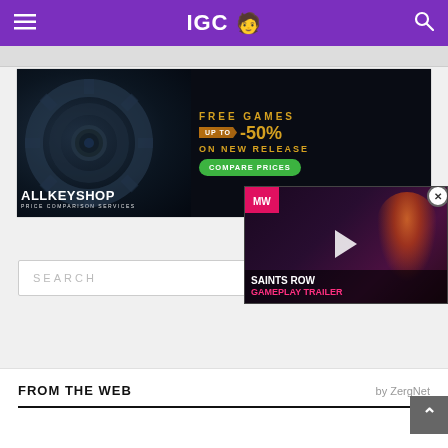IGC 🧑 [hamburger menu] [search icon]
[Figure (screenshot): Allkeyshop advertisement banner: dark background with a mechanical gear/lock icon on the left, text on the right reading 'FREE GAMES UP TO -50% ON NEW RELEASE COMPARE PRICES'. Bottom left shows 'ALLKEYSHOP PRICE COMPARISON SERVICES'.]
[Figure (screenshot): Video player overlay for Saints Row Gameplay Trailer. Shows a character with demon cat headphones on a dark background, pink/magenta MW logo badge top left, white play triangle in center, 'SAINTS ROW' in white and 'GAMEPLAY TRAILER' in pink text at bottom. Close button (X) at top right.]
SEARCH
FROM THE WEB
by ZergNet